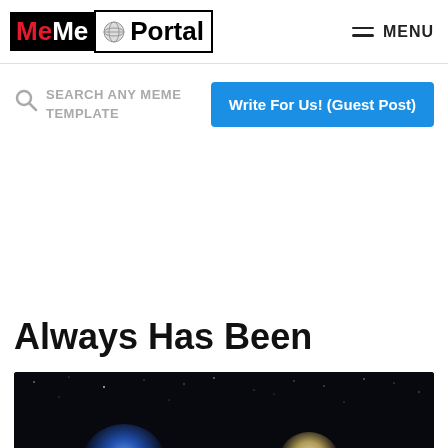MeMe Portal — MENU
SEARCH ANY MEME TEMPLATE
Write For Us! (Guest Post)
Always Has Been
[Figure (photo): Dark space/night sky background with a moon and blue planet or arc visible at the bottom, serving as the header image for the 'Always Has Been' meme article.]